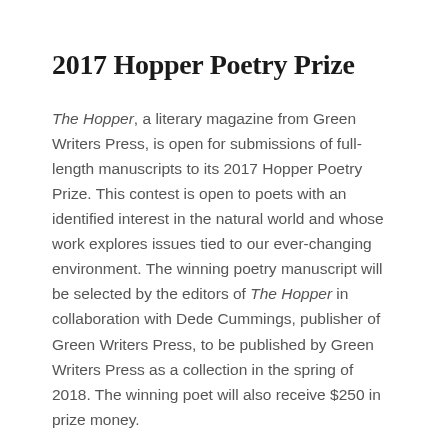2017 Hopper Poetry Prize
The Hopper, a literary magazine from Green Writers Press, is open for submissions of full-length manuscripts to its 2017 Hopper Poetry Prize. This contest is open to poets with an identified interest in the natural world and whose work explores issues tied to our ever-changing environment. The winning poetry manuscript will be selected by the editors of The Hopper in collaboration with Dede Cummings, publisher of Green Writers Press, to be published by Green Writers Press as a collection in the spring of 2018. The winning poet will also receive $250 in prize money.